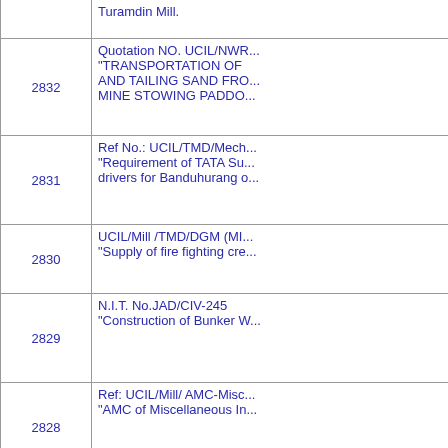| No. | Description |
| --- | --- |
|  | Turamdin Mill. |
| 2832 | Quotation NO. UCIL/NWR...
"TRANSPORTATION OF AND TAILING SAND FRO... MINE STOWING PADDO... |
| 2831 | Ref No.: UCIL/TMD/Mech...
"Requirement of TATA Su... drivers for Banduhurang ... |
| 2830 | UCIL/Mill /TMD/DGM (MI...
"Supply of fire fighting cre... |
| 2829 | N.I.T. No.JAD/CIV-245
"Construction of Bunker W... |
| 2828 | Ref: UCIL/Mill/ AMC-Misc...
"AMC of Miscellaneous In... |
| 2827 | N.I.T. No. - UCIL/BTN/ME...
"Destructive testing and c... |